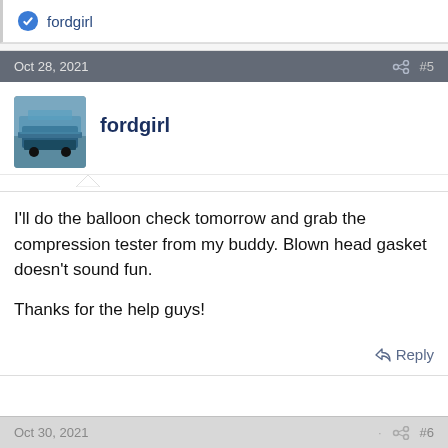fordgirl
Oct 28, 2021  #5
fordgirl
I'll do the balloon check tomorrow and grab the compression tester from my buddy. Blown head gasket doesn't sound fun.

Thanks for the help guys!
Reply
Oct 30, 2021  #6